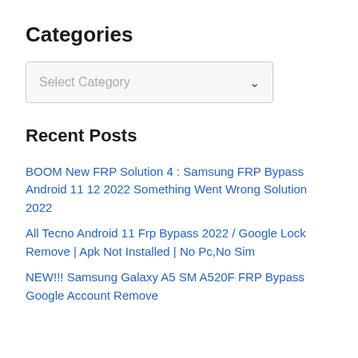Categories
[Figure (other): Dropdown select box with placeholder text 'Select Category' and a chevron arrow on the right]
Recent Posts
BOOM New FRP Solution 4 : Samsung FRP Bypass Android 11 12 2022 Something Went Wrong Solution 2022
All Tecno Android 11 Frp Bypass 2022 / Google Lock Remove | Apk Not Installed | No Pc,No Sim
NEW!!! Samsung Galaxy A5 SM A520F FRP Bypass Google Account Remove